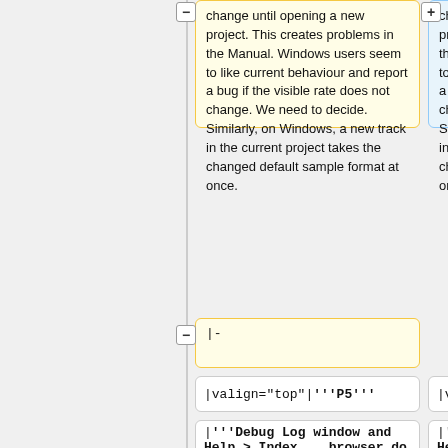change until opening a new project. This creates problems in the Manual. Windows users seem to like current behaviour and report a bug if the visible rate does not change. We need to decide. Similarly, on Windows, a new track in the current project takes the changed default sample format at once.
change until opening a new project. This creates problems in the Manual. Windows users seem to like current behaviour and report a bug if the visible rate does not change. We need to decide. Similarly, on Windows, a new track in the current project takes the changed default sample format at once. |-
|-
|valign="top"|'''P5'''
|valign="top"|'''P5'''
|'''Debug Log window and Help > Index... browser do
|'''Debug Log window and Help > Index... browser do